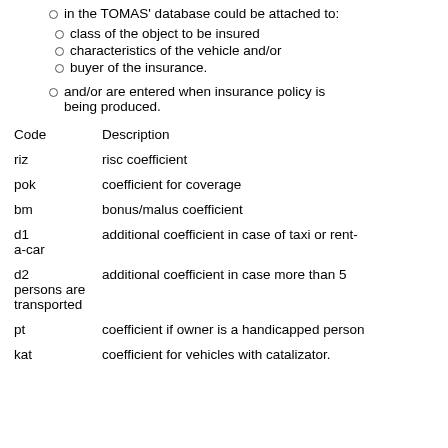in the TOMAS' database could be attached to:
class of the object to be insured
characteristics of the vehicle and/or
buyer of the insurance.
and/or are entered when insurance policy is being produced.
| Code | Description |
| --- | --- |
| riz | risc coefficient |
| pok | coefficient for coverage |
| bm | bonus/malus coefficient |
| d1 | additional coefficient in case of taxi or rent-a-car |
| d2 | additional coefficient in case more than 5 persons are transported |
| pt | coefficient if owner is a handicapped person |
| kat | coefficient for vehicles with catalizator. |